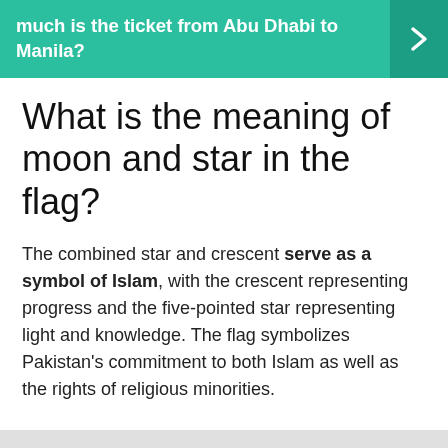much is the ticket from Abu Dhabi to Manila?
What is the meaning of moon and star in the flag?
The combined star and crescent serve as a symbol of Islam, with the crescent representing progress and the five-pointed star representing light and knowledge. The flag symbolizes Pakistan's commitment to both Islam as well as the rights of religious minorities.
Sightseeing